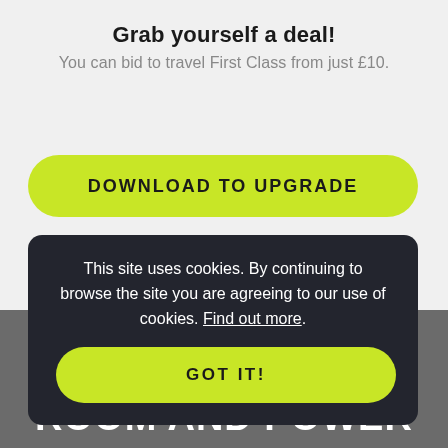Grab yourself a deal!
You can bid to travel First Class from just £10.
DOWNLOAD TO UPGRADE
This site uses cookies. By continuing to browse the site you are agreeing to our use of cookies. Find out more.
GOT IT!
ROOM AND POWER